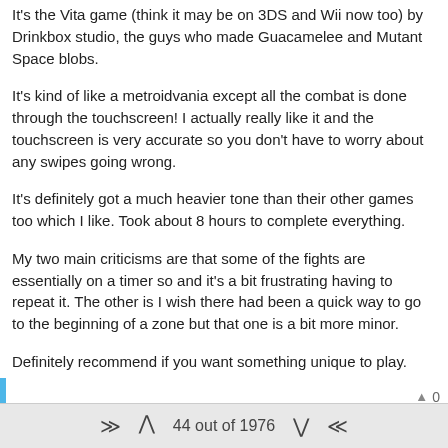It's the Vita game (think it may be on 3DS and Wii now too) by Drinkbox studio, the guys who made Guacamelee and Mutant Space blobs.
It's kind of like a metroidvania except all the combat is done through the touchscreen! I actually really like it and the touchscreen is very accurate so you don't have to worry about any swipes going wrong.
It's definitely got a much heavier tone than their other games too which I like. Took about 8 hours to complete everything.
My two main criticisms are that some of the fights are essentially on a timer so and it's a bit frustrating having to repeat it. The other is I wish there had been a quick way to go to the beginning of a zone but that one is a bit more minor.
Definitely recommend if you want something unique to play.
▲ 0
michemagius Aug 23, 2016, 4:55 AM
Finally best Fire Emblem Fates: Conquest. Not how I thought things
⇑ ∧ 44 out of 1976 ∨ ⇓